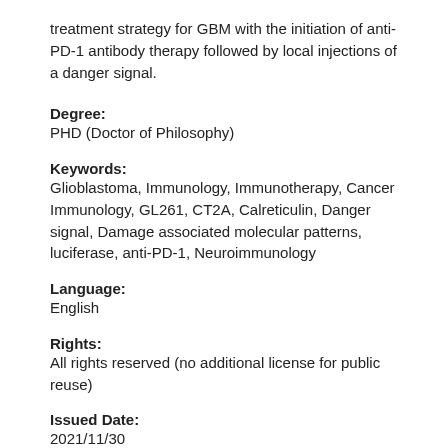treatment strategy for GBM with the initiation of anti-PD-1 antibody therapy followed by local injections of a danger signal.
Degree:
PHD (Doctor of Philosophy)
Keywords:
Glioblastoma, Immunology, Immunotherapy, Cancer Immunology, GL261, CT2A, Calreticulin, Danger signal, Damage associated molecular patterns, luciferase, anti-PD-1, Neuroimmunology
Language:
English
Rights:
All rights reserved (no additional license for public reuse)
Issued Date:
2021/11/30
Persistent Link:
https://doi.org/10.18130/16n1-z805